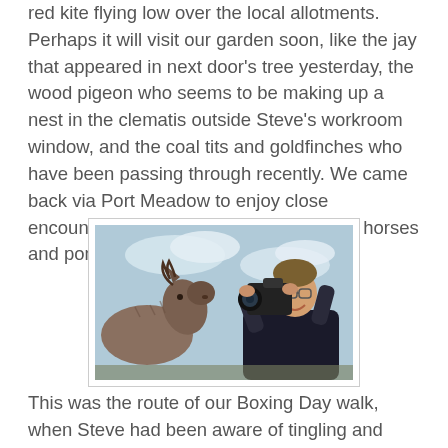red kite flying low over the local allotments.  Perhaps it will visit our garden soon, like the jay that appeared in next door's tree yesterday, the wood pigeon who seems to be making up a nest in the clematis outside Steve's workroom window, and the coal tits and goldfinches who have been passing through recently. We came back via Port Meadow to enjoy close encounters with flocks of geese, and the horses and ponies grazing on the meadow.
[Figure (photo): A man laughing while photographing a donkey or pony at close range outdoors. The animal's face is very close to the camera lens. Cloudy sky in background.]
This was the route of our Boxing Day walk, when Steve had been aware of tingling and numbness in his fingers and toes